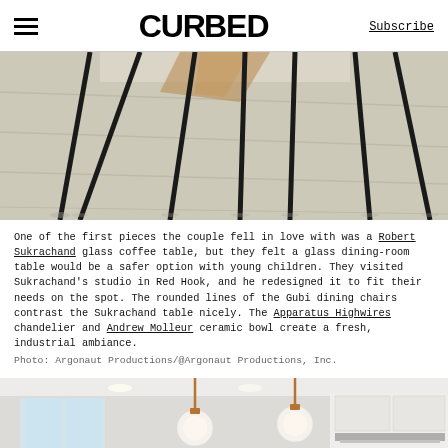CURBED | Subscribe
[Figure (photo): Close-up photo of thin black metal legs of a dining table on a light wood floor, with a wooden geometric object visible in the background.]
One of the first pieces the couple fell in love with was a Robert Sukrachand glass coffee table, but they felt a glass dining-room table would be a safer option with young children. They visited Sukrachand's studio in Red Hook, and he redesigned it to fit their needs on the spot. The rounded lines of the Gubi dining chairs contrast the Sukrachand table nicely. The Apparatus Highwires chandelier and Andrew Molleur ceramic bowl create a fresh, industrial ambiance.
Photo: Argonaut Productions/@Argonaut Productions, Inc.
[Figure (photo): Kitchen interior with pendant lights hanging from the ceiling — globe-shaped bulb lights with copper fittings — and white cabinetry visible in the background.]